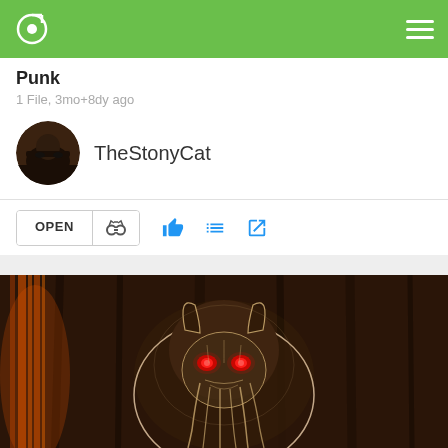Music app header with logo and menu
Punk
1 File, 3mo+8dy ago
[Figure (photo): Circular user avatar showing a dark photo of a person/figure]
TheStonyCat
[Figure (illustration): Dark fantasy/horror digital art of a demonic creature with glowing red eyes and tentacle-like facial features against a dark brown background with orange fire-like streaks on the left side]